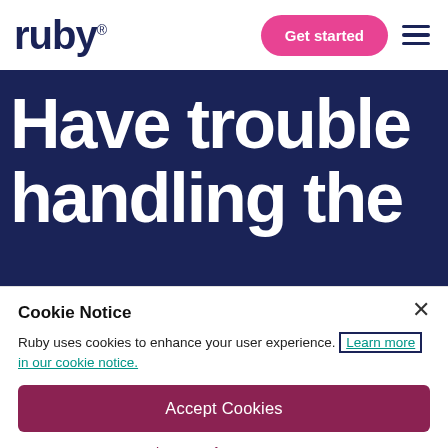[Figure (logo): Ruby logo with registered trademark symbol in dark navy blue]
Get started
Have trouble handling the
Cookie Notice
Ruby uses cookies to enhance your user experience. Learn more in our cookie notice.
Accept Cookies
Privacy Preference Center